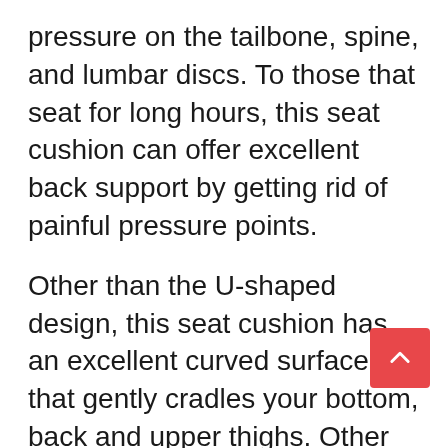pressure on the tailbone, spine, and lumbar discs. To those that seat for long hours, this seat cushion can offer excellent back support by getting rid of painful pressure points.
Other than the U-shaped design, this seat cushion has an excellent curved surface that gently cradles your bottom, back and upper thighs. Other than being comfortable, this design promotes proper posture and spinal alignment when seated on an office chair or when driving.
The FOMI Coccyx Orthopedic Seat Cushion is made from a memory foam